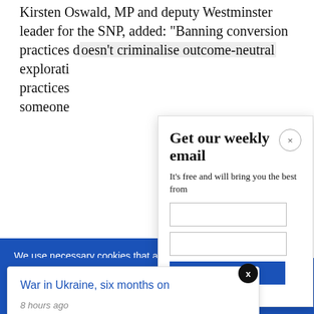Kirsten Oswald, MP and deputy Westminster leader for the SNP, added: “Banning conversion practices doesn’t criminalise outcome-neutral exploratio… practices… someone…
[Figure (screenshot): Email sign-up modal overlay: 'Get our weekly email' with close X button, subtext 'It’s free and will bring you the best from', input fields, and subscribe button.]
[Figure (screenshot): Cookie consent banner in blue: text about necessary and optional cookies, 'READ OUR COOKIES POLICY HERE' link, COOKIE and ALLOW buttons.]
[Figure (screenshot): Notification toast: 'War in Ukraine, six months on' link in blue, '8 hours ago' timestamp, with X close circle button.]